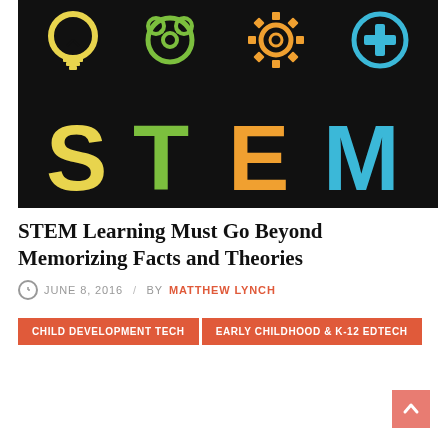[Figure (illustration): STEM logo on black background with four colored icons (yellow lightbulb, green connected circles/atom, orange gear, blue medical cross) above large colorful letters S-T-E-M in yellow, green, orange, blue]
STEM Learning Must Go Beyond Memorizing Facts and Theories
JUNE 8, 2016  /  BY MATTHEW LYNCH
CHILD DEVELOPMENT TECH   EARLY CHILDHOOD & K-12 EDTECH